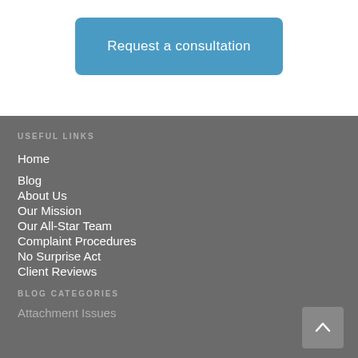[Figure (other): Blue rounded button labeled 'Request a consultation']
USEFUL LINKS
Home
Blog
About Us
Our Mission
Our All-Star Team
Complaint Procedures
No Surprise Act
Client Reviews
BLOG CATEGORIES
Attachment Issues